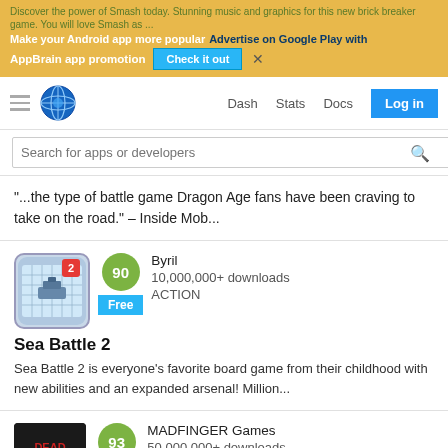[Figure (screenshot): AppBrain ad banner with yellow background. Text: 'Discover the power of Smash today. Stunning music and graphics for this new brick breaker game. You will love Smash as...'. 'Make your Android app more popular' and 'Advertise on Google Play with AppBrain app promotion' with 'Check it out' button and close X.]
[Figure (screenshot): Navigation bar with hamburger menu, AppBrain globe logo, Dash, Stats, Docs links and Log in button.]
[Figure (screenshot): Search bar: 'Search for apps or developers' with magnifying glass icon.]
“...the type of battle game Dragon Age fans have been craving to take on the road.” – Inside Mob...
Byril
10,000,000+ downloads
ACTION
Sea Battle 2
Sea Battle 2 is everyone’s favorite board game from their childhood with new abilities and an expanded arsenal! Million...
MADFINGER Games
50,000,000+ downloads
ACTION
Dead Trigger: Survival Shooter
Get ready for Non-Stop Action in this Shooter Game! Gear up for some